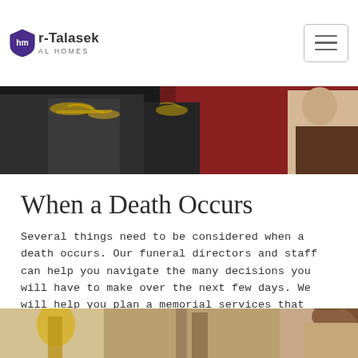r-Talasek AL HOMES
[Figure (photo): Top banner photo showing military or ceremonial figures in dark uniforms with gold braiding and epaulettes, partially cropped]
When a Death Occurs
Several things need to be considered when a death occurs. Our funeral directors and staff can help you navigate the many decisions you will have to make over the next few days. We will help you plan a memorial services that will truly reflect your loved one
LEARN MORE
[Figure (photo): Bottom partial image showing a person (elderly) and some interior decor elements visible at the bottom of the page]